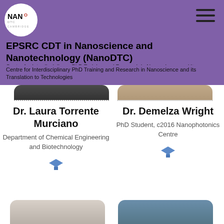[Figure (logo): NanoDTC Cambridge logo in white circle on purple header]
EPSRC CDT in Nanoscience and Nanotechnology (NanoDTC)
Centre for Interdisciplinary PhD Training and Research in Nanoscience and its Translation to Technologies
[Figure (photo): Partially visible photo of Dr. Laura Torrente Murciano]
[Figure (photo): Partially visible photo of Dr. Demelza Wright]
Dr. Laura Torrente Murciano
Department of Chemical Engineering and Biotechnology
Dr. Demelza Wright
PhD Student, c2016
Nanophotonics Centre
[Figure (photo): Partially visible bottom-row photo left]
[Figure (photo): Partially visible bottom-row photo right]